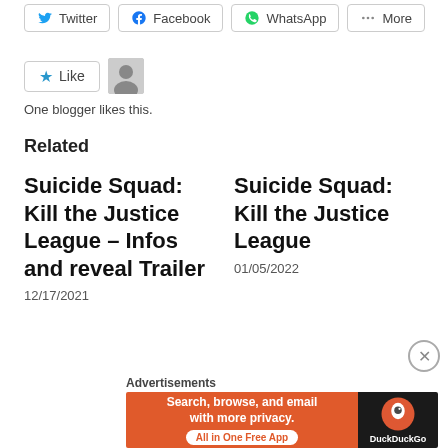Twitter
Facebook
WhatsApp
More
Like
One blogger likes this.
Related
Suicide Squad: Kill the Justice League – Infos and reveal Trailer
12/17/2021
Suicide Squad: Kill the Justice League
01/05/2022
Advertisements
[Figure (screenshot): DuckDuckGo advertisement banner: orange section with text 'Search, browse, and email with more privacy. All in One Free App' and dark section with DuckDuckGo logo and text 'DuckDuckGo']